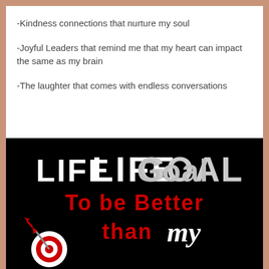-Kindness connections that nurture my soul
-Joyful Leaders that remind me that my heart can impact the same as my brain
-The laughter that comes with endless conversations
[Figure (illustration): Black background motivational graphic with text reading 'LIFE GOAL To be Better than my' with a dartboard and dart graphic in red and white.]